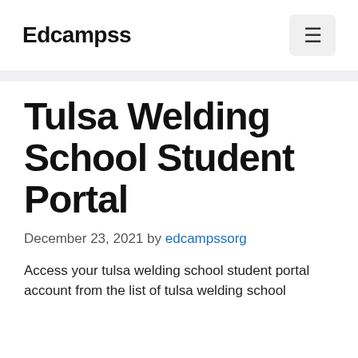Edcampss
Tulsa Welding School Student Portal
December 23, 2021 by edcampssorg
Access your tulsa welding school student portal account from the list of tulsa welding school